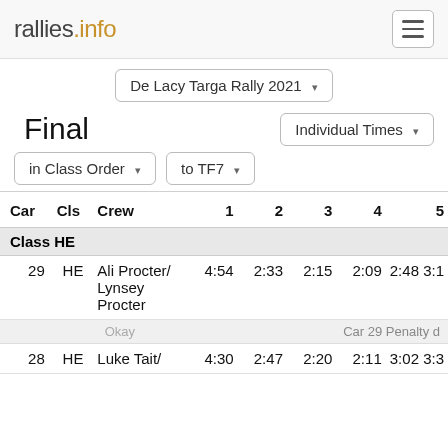rallies.info
De Lacy Targa Rally 2021
Final
Individual Times
in Class Order
to TF7
| Car | Cls | Crew | 1 | 2 | 3 | 4 | 5 |
| --- | --- | --- | --- | --- | --- | --- | --- |
| Class HE |  |  |  |  |  |  |  |
| 29 | HE | Ali Procter/ Lynsey Procter | 4:54 | 2:33 | 2:15 | 2:09 | 2:48 |
|  |  | Okay |  |  |  |  | Car 29 Penalty d |
| 28 | HE | Luke Tait/ | 4:30 | 2:47 | 2:20 | 2:11 | 3:02 |